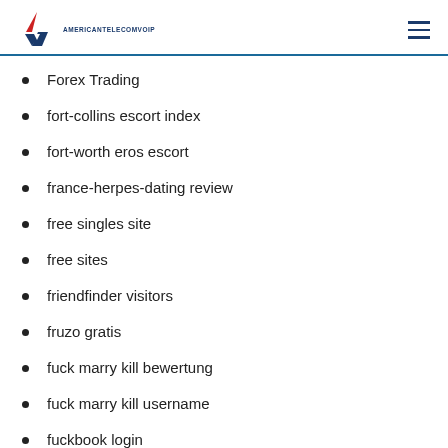AMERICANTELECOMVOIP
Forex Trading
fort-collins escort index
fort-worth eros escort
france-herpes-dating review
free singles site
free sites
friendfinder visitors
fruzo gratis
fuck marry kill bewertung
fuck marry kill username
fuckbook login
Fuckbookhookup username